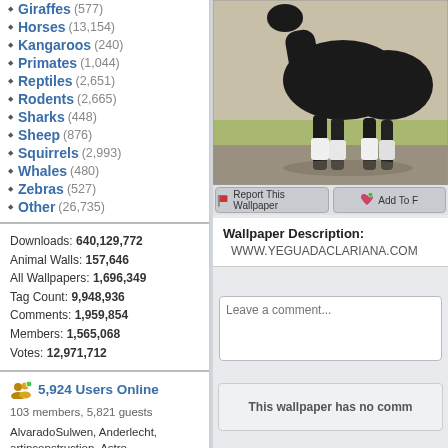Giraffes (577)
Horses (13,154)
Kangaroos (240)
Primates (1,044)
Reptiles (2,651)
Rodents (2,665)
Sharks (448)
Sheep (876)
Squirrels (2,993)
Whales (480)
Zebras (527)
Other (26,735)
Downloads: 640,129,772
Animal Walls: 157,646
All Wallpapers: 1,696,349
Tag Count: 9,948,936
Comments: 1,959,854
Members: 1,565,068
Votes: 12,971,712
5,924 Users Online
103 members, 5,821 guests
AlvaradoSulwen, Anderlecht, artinconstruction, Astro, BestPsychic000, bmpressurewashing2, Boatent98, boliou, brandbajade, bridgecounseling, brighterfinance, CarrollDentistry, cell-phone-hacking, chatonfragile, Cleaners567, ColbyRichardson,
[Figure (photo): Photo of a dark horse with white leg wraps on its lower legs, outdoors on a path with grass in background]
Report This Wallpaper   Add To F
Wallpaper Description:
WWW.YEGUADACLARIANA.COM
Leave a comment...
This wallpaper has no comm